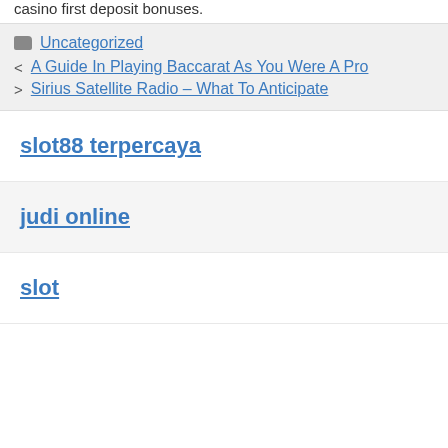casino first deposit bonuses.
Uncategorized
A Guide In Playing Baccarat As You Were A Pro
Sirius Satellite Radio – What To Anticipate
slot88 terpercaya
judi online
slot